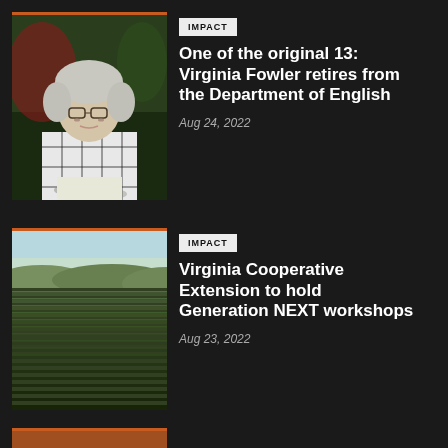[Figure (photo): Outdoor portrait of an older woman with white hair and glasses wearing a plaid shirt, standing in a garden setting]
IMPACT
One of the original 13: Virginia Fowler retires from the Department of English
Aug 24, 2022
[Figure (photo): Aerial view of rows of crops or trees in a green agricultural field with hills in the background]
IMPACT
Virginia Cooperative Extension to hold Generation NEXT workshops
Aug 23, 2022
[Figure (photo): Partial view of a third article image at the bottom of the page, showing an orange/warm-toned image]